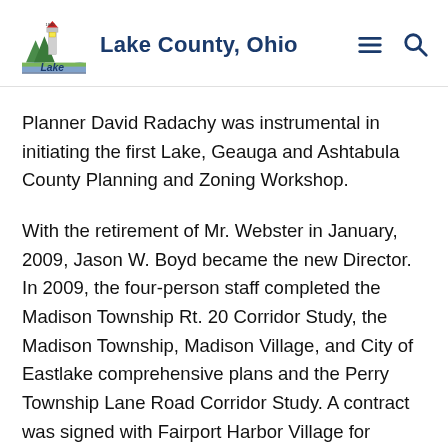Lake County, Ohio
Planner David Radachy was instrumental in initiating the first Lake, Geauga and Ashtabula County Planning and Zoning Workshop.
With the retirement of Mr. Webster in January, 2009, Jason W. Boyd became the new Director. In 2009, the four-person staff completed the Madison Township Rt. 20 Corridor Study, the Madison Township, Madison Village, and City of Eastlake comprehensive plans and the Perry Township Lane Road Corridor Study.  A contract was signed with Fairport Harbor Village for planning services on February 2, 2009.  The